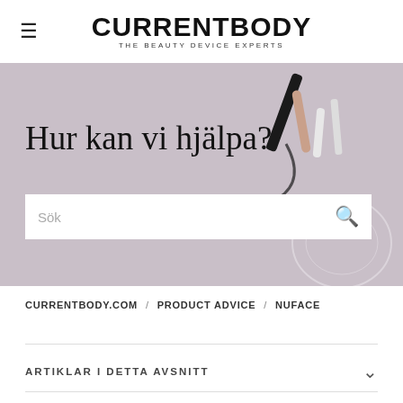CURRENTBODY THE BEAUTY DEVICE EXPERTS
Hur kan vi hjälpa?
[Figure (screenshot): Hero banner with mauve/lavender background showing beauty devices and skincare products on the right side, with a search bar containing placeholder text 'Sök']
CURRENTBODY.COM / PRODUCT ADVICE / NUFACE
ARTIKLAR I DETTA AVSNITT